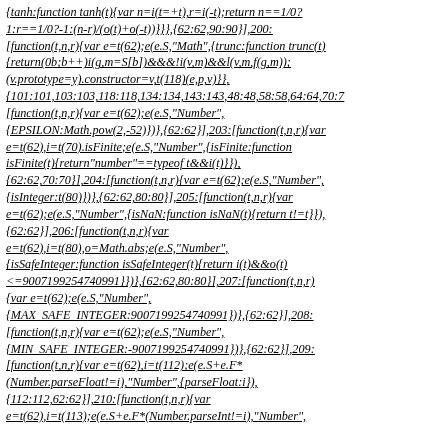{tanh:function tanh(t){var n=i(t=+t),r=i(-t);return n==1/0?1:r==1/0?-1:(n-r)/(o(t)+o(-t))}}},{62:62,90:90}],200:[function(t,n,r){var e=t(62);e(e.S,"Math",{trunc:function trunc(t){return(0b;b++)i(g,m=S[b])&&&!i(v,m)&&l(v,m,f(g,m));(v.prototype=y).constructor=v,t(118)(e,p,v)}},{101:101,103:103,118:118,134:134,143:143,48:48,58:58,64:64,70:70:[function(t,n,r){var e=t(62);e(e.S,"Number",{EPSILON:Math.pow(2,-52)})},{62:62}],203:[function(t,n,r){var e=t(62),i=t(70).isFinite;e(e.S,"Number",{isFinite:function isFinite(t){return"number"==typeof t&&i(t)}})},{62:62,70:70}],204:[function(t,n,r){var e=t(62);e(e.S,"Number",{isInteger:t(80)})},{62:62,80:80}],205:[function(t,n,r){var e=t(62);e(e.S,"Number",{isNaN:function isNaN(t){return t!=t}})},{62:62}],206:[function(t,n,r){var e=t(62),i=t(80),o=Math.abs;e(e.S,"Number",{isSafeInteger:function isSafeInteger(t){return i(t)&&o(t)<=9007199254740991}})},{62:62,80:80}],207:[function(t,n,r){var e=t(62);e(e.S,"Number",{MAX_SAFE_INTEGER:9007199254740991})},{62:62}],208:[function(t,n,r){var e=t(62);e(e.S,"Number",{MIN_SAFE_INTEGER:-9007199254740991})},{62:62}],209:[function(t,n,r){var e=t(62),i=t(112);e(e.S+e.F*(Number.parseFloat!=i),"Number",{parseFloat:i}),(112:112,62:62}],210:[function(t,n,r){var e=t(62),i=t(113);e(e.S+e.F*(Number.parseInt!=i),"Number",